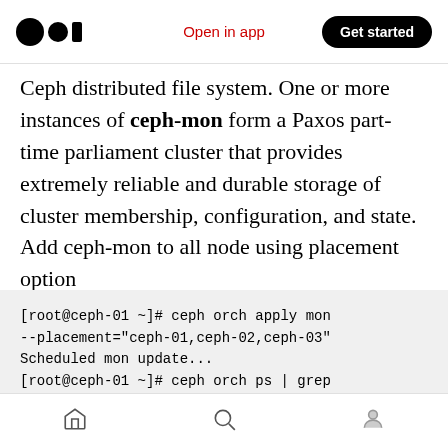Open in app  Get started
Ceph distributed file system. One or more instances of ceph-mon form a Paxos part-time parliament cluster that provides extremely reliable and durable storage of cluster membership, configuration, and state. Add ceph-mon to all node using placement option
[root@ceph-01 ~]# ceph orch apply mon --placement="ceph-01,ceph-02,ceph-03"
Scheduled mon update...
[root@ceph-01 ~]# ceph orch ps | grep mon
mon.ceph-01          ceph-01
running (62m)     7m ago  62m    300M
home  search  profile